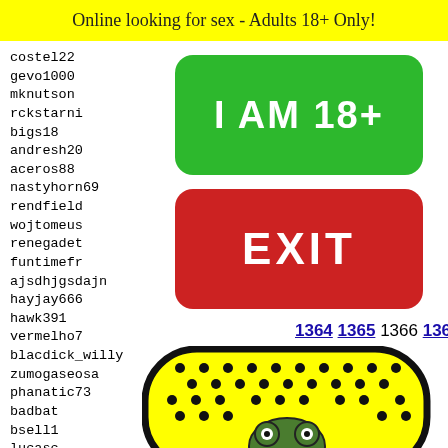Online looking for sex - Adults 18+ Only!
costel22
gevo1000
mknutson
rckstarni
bigs18
andresh20
aceros88
nastyhorn69
rendfield
wojtomeus
renegadet
funtimefr
ajsdhjgsdajn
hayjay666
hawk391
vermelho7
blacdick_willy
zumogaseosa
phanatic73
badbat
bsell1
lucasc
freakk
djcoro
absint
[Figure (other): Green rounded rectangle button with white bold text 'I AM 18+']
[Figure (other): Red rounded rectangle button with white bold text 'EXIT']
1364 1365 1366 1367 1368
[Figure (illustration): Yellow paddle/racket shape with black dots and a cartoon frog face at bottom center]